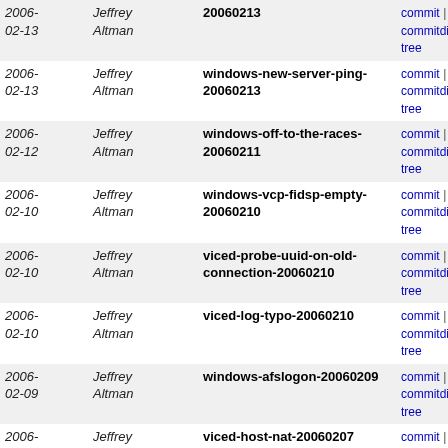| Date | Author | Tag | Links |
| --- | --- | --- | --- |
| 2006-02-13 | Jeffrey Altman | 20060213 | commit | commitdiff | tree |
| 2006-02-13 | Jeffrey Altman | windows-new-server-ping-20060213 | commit | commitdiff | tree |
| 2006-02-12 | Jeffrey Altman | windows-off-to-the-races-20060211 | commit | commitdiff | tree |
| 2006-02-10 | Jeffrey Altman | windows-vcp-fidsp-empty-20060210 | commit | commitdiff | tree |
| 2006-02-10 | Jeffrey Altman | viced-probe-uuid-on-old-connection-20060210 | commit | commitdiff | tree |
| 2006-02-10 | Jeffrey Altman | viced-log-typo-20060210 | commit | commitdiff | tree |
| 2006-02-09 | Jeffrey Altman | windows-afslogon-20060209 | commit | commitdiff | tree |
| 2006-02-07 | Jeffrey Altman | viced-host-nat-20060207 | commit | commitdiff | tree |
| 2006-02-07 | Jeffrey Altman | viced-more-dbg-improvements-20060207 | commit | commitdiff | tree |
| 2006-02-06 | Jeffrey Altman | windows-winqual-20060206 | commit | commitdiff | tree |
| 2006-02-05 | Jeffrey Altman | windows-mountpoints-20060205 | commit | commitdiff | tree |
| 2006-02-05 | Jeffrey Altman | windows-afslogon-20060205 | commit | commitdiff | tree |
| 2006-02-05 | Jeffrey Altman | windows-afslogon-20060204 | commit | commitdiff | tree |
| 2006-02-03 | Jeffrey Altman | windows-todays-bugs-20060203 | commit | commitdiff | tree |